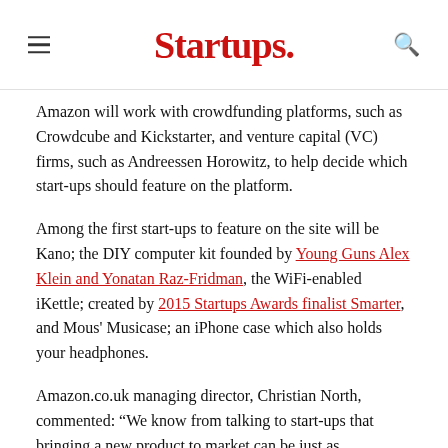Startups.
Amazon will work with crowdfunding platforms, such as Crowdcube and Kickstarter, and venture capital (VC) firms, such as Andreessen Horowitz, to help decide which start-ups should feature on the platform.
Among the first start-ups to feature on the site will be Kano; the DIY computer kit founded by Young Guns Alex Klein and Yonatan Raz-Fridman, the WiFi-enabled iKettle; created by 2015 Startups Awards finalist Smarter, and Mous' Musicase; an iPhone case which also holds your headphones.
Amazon.co.uk managing director, Christian North, commented: “We know from talking to start-ups that bringing a new product to market can be just as challenging as building it.
“Amazon Launchpad gives start-ups support . . . so they can